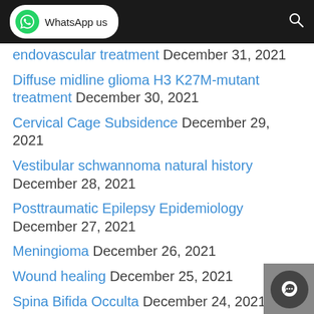WhatsApp us
endovascular treatment December 31, 2021
Diffuse midline glioma H3 K27M-mutant treatment December 30, 2021
Cervical Cage Subsidence December 29, 2021
Vestibular schwannoma natural history December 28, 2021
Posttraumatic Epilepsy Epidemiology December 27, 2021
Meningioma December 26, 2021
Wound healing December 25, 2021
Spina Bifida Occulta December 24, 2021
Spinal intradural arachnoid cyst December